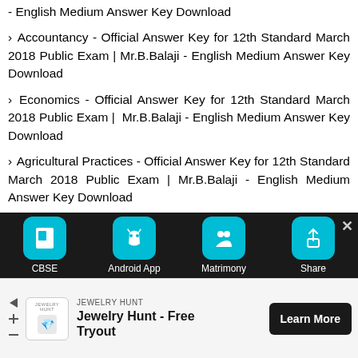- English Medium Answer Key Download
> Accountancy - Official Answer Key for 12th Standard March 2018 Public Exam | Mr.B.Balaji - English Medium Answer Key Download
> Economics - Official Answer Key for 12th Standard March 2018 Public Exam | Mr.B.Balaji - English Medium Answer Key Download
> Agricultural Practices - Official Answer Key for 12th Standard March 2018 Public Exam | Mr.B.Balaji - English Medium Answer Key Download
> Office Management - Official Answer Key for 12th Standard March 2018 Public Exam | Mr.B.alaji - English Medium Answer Key Download
12th Standard - Official Answer Keys Download
[Figure (screenshot): Mobile app bottom navigation bar with CBSE, Android App, Matrimony, and Share icons on dark background, plus close button]
[Figure (screenshot): Advertisement banner for Jewelry Hunt - Free Tryout with Learn More button]